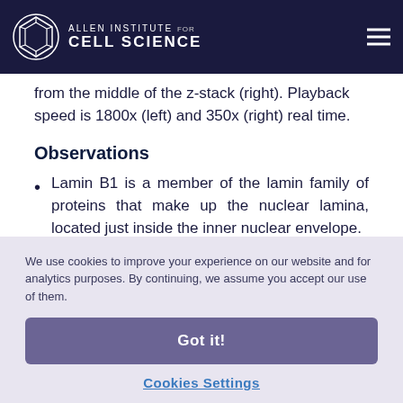Allen Institute for Cell Science
from the middle of the z-stack (right). Playback speed is 1800x (left) and 350x (right) real time.
Observations
Lamin B1 is a member of the lamin family of proteins that make up the nuclear lamina, located just inside the inner nuclear envelope. - In hiPS cells, nuclei in these cells occupy 30-50% of the cell volume making them very
We use cookies to improve your experience on our website and for analytics purposes. By continuing, we assume you accept our use of them.
Got it!
Cookies Settings